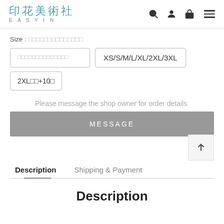印花美術社 EASYIN
Size : □□□□□□□□□□□□□□
□□□□□□□□□□□□□□
XS/S/M/L/XL/2XL/3XL
2XL□□+10□
Please message the shop owner for order details.
MESSAGE
Description
Shipping & Payment
Description